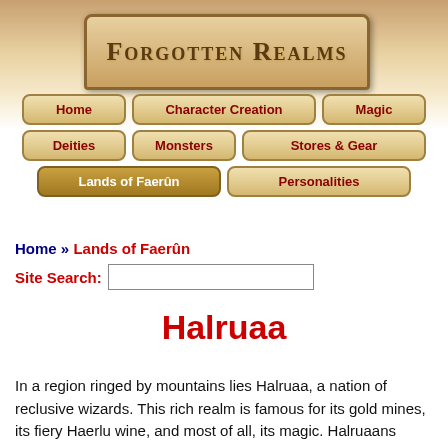[Figure (logo): Forgotten Realms logo in a decorative bordered box with tan/gold background]
Home
Character Creation
Magic
Deities
Monsters
Stores & Gear
Lands of Faerûn
Personalities
Home » Lands of Faerûn
Site Search:
Halruaa
In a region ringed by mountains lies Halruaa, a nation of reclusive wizards. This rich realm is famous for its gold mines, its fiery Haerlu wine, and most of all, its magic. Halruaans wizards, like their mighty Netherese ancestors, crave powerful